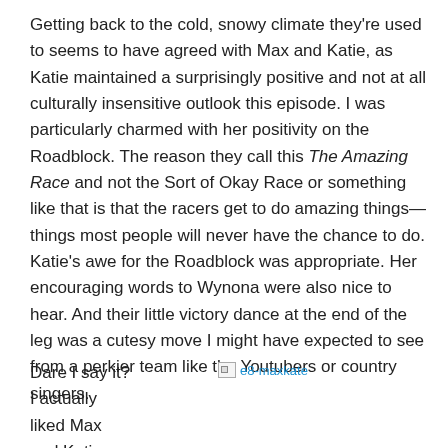Getting back to the cold, snowy climate they're used to seems to have agreed with Max and Katie, as Katie maintained a surprisingly positive and not at all culturally insensitive outlook this episode. I was particularly charmed with her positivity on the Roadblock. The reason they call this The Amazing Race and not the Sort of Okay Race or something like that is that the racers get to do amazing things—things most people will never have the chance to do. Katie's awe for the Roadblock was appropriate. Her encouraging words to Wynona were also nice to hear. And their little victory dance at the end of the leg was a cutesy move I might have expected to see from a perkier team like the Youtubers or country singers.
Dare I say it? I actually liked Max and Katie this leg. I should have
[Figure (photo): Broken image placeholder with link text 'e8-maxkate']